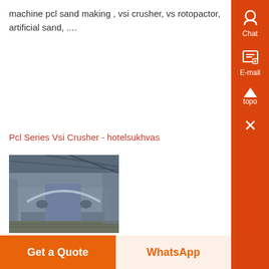machine pcl sand making , vsi crusher, vs rotopactor, artificial sand, ....
Pcl Series Vsi Crusher - hotelsukhvas
[Figure (photo): Industrial machinery - PCL vertical shaft impact crusher on a factory floor]
Manufacturer pcl vsi crusher,pcl series vertical shaft impact Manufacturer pcl vsi crusher,pcl series vertical shaft impact crusher,pcl series vertical shaft impact
Get a Quote
WhatsApp